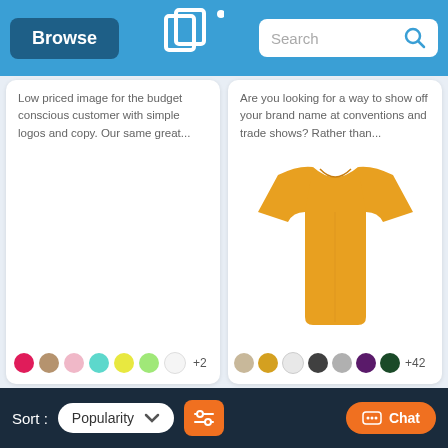Browse | Search
Low priced image for the budget conscious customer with simple logos and copy. Our same great...
Are you looking for a way to show off your brand name at conventions and trade shows? Rather than...
[Figure (photo): Left product card - empty/blank image area with color swatches below: pink/red, tan, pink, teal, yellow, light green, white, +2]
[Figure (photo): Right product card showing a gold/yellow t-shirt with color swatches below: beige, gold, white, dark gray, light gray, purple, dark green, +42]
Sort: Popularity [filter icon] [Chat]